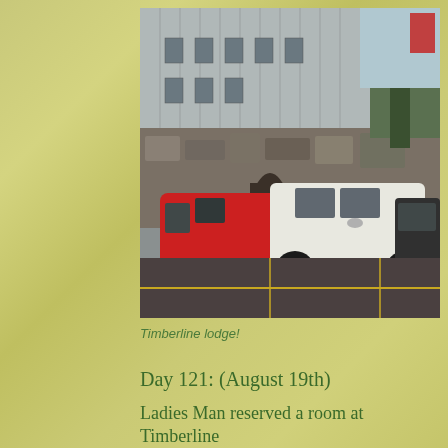[Figure (photo): Photograph of a parking lot at Timberline Lodge showing a red van, a white Hyundai SUV, and a dark SUV in the foreground, with the stone facade of Timberline Lodge visible in the background along with trees.]
Timberline lodge!
Day 121: (August 19th)
Ladies Man reserved a room at Timberline